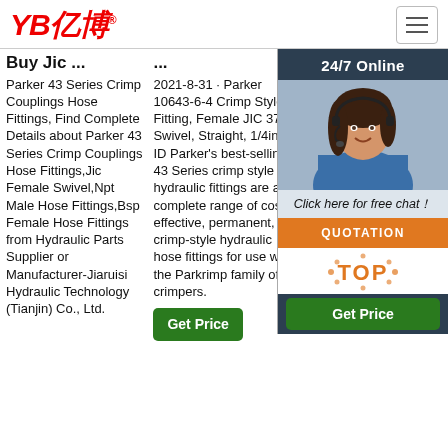[Figure (logo): YB亿博 logo in red italic text with registered trademark symbol]
Buy Jic ...
...
2021-9-10 ·
Parker 43 Series Crimp Couplings Hose Fittings, Find Complete Details about Parker 43 Series Crimp Couplings Hose Fittings,Jic Female Swivel,Npt Male Hose Fittings,Bsp Female Hose Fittings from Hydraulic Parts Supplier or Manufacturer-Jiaruisi Hydraulic Technology (Tianjin) Co., Ltd.
2021-8-31 · Parker 10643-6-4 Crimp Style Fitting, Female JIC 37°, Swivel, Straight, 1/4in ID Parker's best-selling 43 Series crimp style hydraulic fittings are a complete range of cost-effective, permanent, crimp-style hydraulic hose fittings for use with the Parkrimp family of crimpers.
Parkrimp 2. See CrimpSource for more information.
[Figure (photo): Woman with headset smiling, customer service representative, overlaid with 24/7 Online header, chat prompt, and QUOTATION button]
Get Price
Get Price